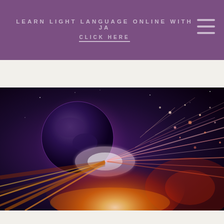LEARN LIGHT LANGUAGE ONLINE WITH JA
CLICK HERE
[Figure (illustration): A dramatic space/energy scene featuring a dark planet or moon on the left with a glowing halo, and an explosion of orange and red light energy streaks and sparks emanating from the center-right, set against a deep purple and black background.]